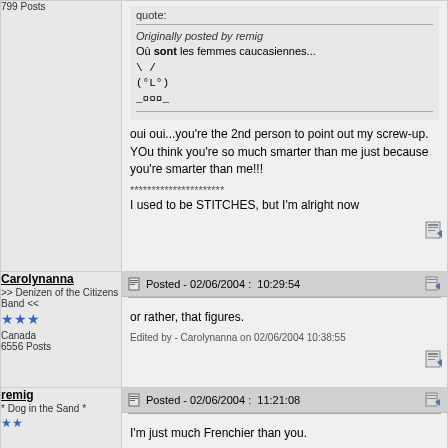799 Posts
quote:
Originally posted by remig
Où sont les femmes caucasiennes...
\ /
(°L°)
_¤¤¤_
oui oui...you're the 2nd person to point out my screw-up. YOu think you're so much smarter than me just because you're smarter than me!!!
**********************
I used to be STITCHES, but I'm alright now
Carolynanna
>> Denizen of the Citizens Band <<
Canada
6556 Posts
Posted - 02/06/2004 :  10:29:54
or rather, that figures.
Edited by - Carolynanna on 02/06/2004 10:38:55
remig
* Dog in the Sand *
Posted - 02/06/2004 :  11:21:08
I'm just much Frenchier than you.